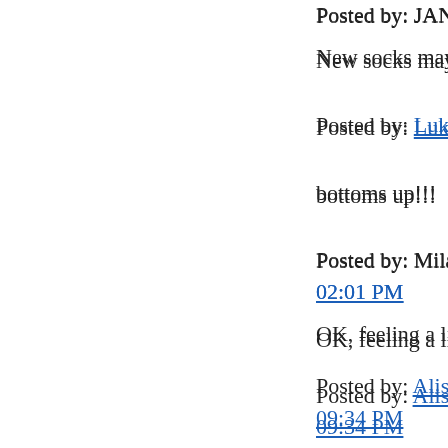Posted by: JANE | Feb...
New socks may now...
Posted by: Luke | Feb...
bottoms up!!!
Posted by: Milan No... 02:01 PM
OK, feeling a little si...
Posted by: Alistair Cu... 09:34 PM
If you can read this, k... wet...
Posted by: Alistair Cu... 09:35 PM
You + Me = Karaoke...
Posted by: RJ | Febru...
Regarde moi dans les...